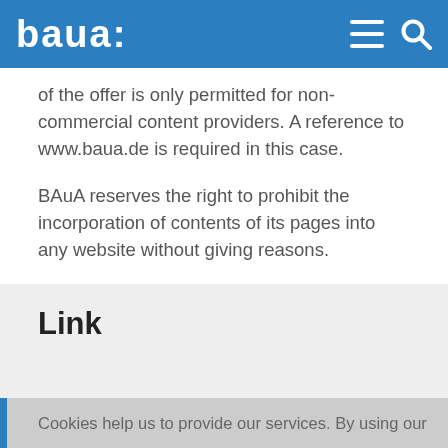baua:
of the offer is only permitted for non-commercial content providers. A reference to www.baua.de is required in this case.
BAuA reserves the right to prohibit the incorporation of contents of its pages into any website without giving reasons.
Please understand that the use of our logos on your domain is not permitted.
Link
Cookies help us to provide our services. By using our